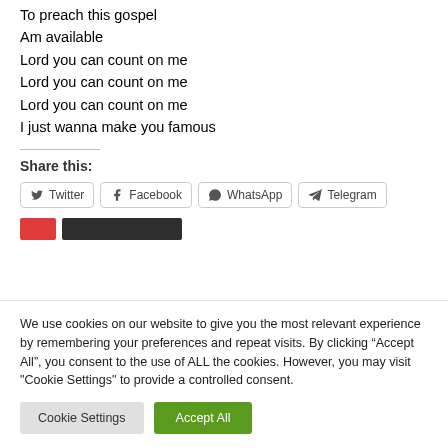To preach this gospel
Am available
Lord you can count on me
Lord you can count on me
Lord you can count on me
I just wanna make you famous
Share this:
Twitter  Facebook  WhatsApp  Telegram
We use cookies on our website to give you the most relevant experience by remembering your preferences and repeat visits. By clicking “Accept All”, you consent to the use of ALL the cookies. However, you may visit "Cookie Settings" to provide a controlled consent.
Cookie Settings  Accept All